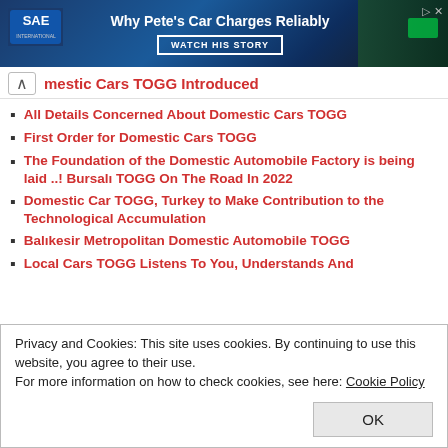[Figure (screenshot): SAE advertisement banner with blue gradient background, SAE logo on left, text 'Why Pete's Car Charges Reliably' with 'WATCH HIS STORY' button, close and play icons top right]
Domestic Cars TOGG Introduced
All Details Concerned About Domestic Cars TOGG
First Order for Domestic Cars TOGG
The Foundation of the Domestic Automobile Factory is being laid ..! Bursalı TOGG On The Road In 2022
Domestic Car TOGG, Turkey to Make Contribution to the Technological Accumulation
Balikesir Metropolitan Domestic Automobile TOGG
Local Cars TOGG Listens To You, Understands And
Privacy and Cookies: This site uses cookies. By continuing to use this website, you agree to their use.
For more information on how to check cookies, see here: Cookie Policy
Certificate